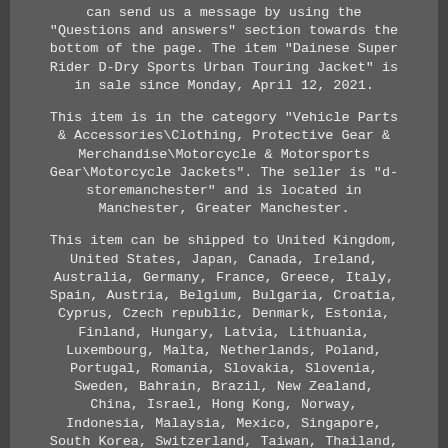can send us a message by using the "Questions and answers" section towards the bottom of the page. The item "Dainese Super Rider D-Dry Sports Urban Touring Jacket" is in sale since Monday, April 12, 2021.
This item is in the category "Vehicle Parts & Accessories\Clothing, Protective Gear & Merchandise\Motorcycle & Motorsports Gear\Motorcycle Jackets". The seller is "d-storemanchester" and is located in Manchester, Greater Manchester.
This item can be shipped to United Kingdom, United States, Japan, Canada, Ireland, Australia, Germany, France, Greece, Italy, Spain, Austria, Belgium, Bulgaria, Croatia, Cyprus, Czech republic, Denmark, Estonia, Finland, Hungary, Latvia, Lithuania, Luxembourg, Malta, Netherlands, Poland, Portugal, Romania, Slovakia, Slovenia, Sweden, Bahrain, Brazil, New Zealand, China, Israel, Hong Kong, Norway, Indonesia, Malaysia, Mexico, Singapore, South Korea, Switzerland, Taiwan, Thailand, Bangladesh, Bermuda, Bolivia, Barbados, Brunei darussalam, Cayman islands, Ecuador, Egypt, Guernsey, Gibraltar, Guadeloupe, French guiana, Iceland, Jersey, Jordan, Cambodia, Liechtenstein, Sri lanka, Macao,